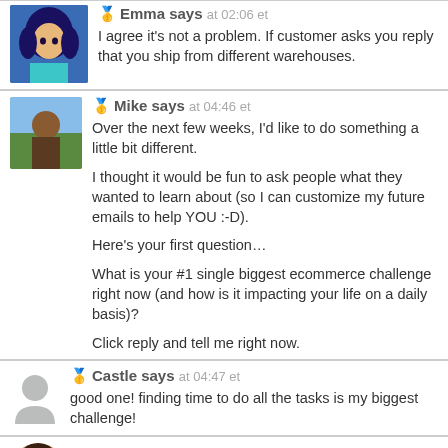Emma says at 02:06 et — I agree it's not a problem. If customer asks you reply that you ship from different warehouses.
Mike says at 04:46 et — Over the next few weeks, I'd like to do something a little bit different.

I thought it would be fun to ask people what they wanted to learn about (so I can customize my future emails to help YOU :-D).

Here's your first question...

What is your #1 single biggest ecommerce challenge right now (and how is it impacting your life on a daily basis)?

Click reply and tell me right now.
Castle says at 04:47 et — good one! finding time to do all the tasks is my biggest challenge!
Olga says at 04:48 et